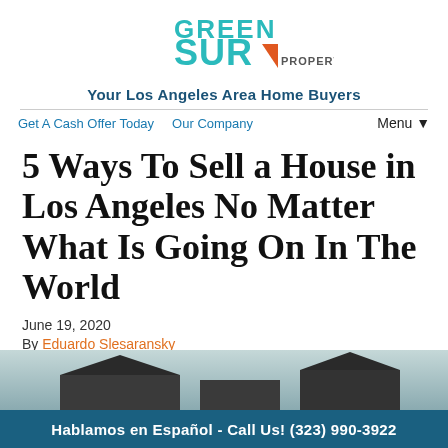[Figure (logo): Green Sur Properties logo with teal GREEN SUR text and orange triangle, PROPERTIES in small caps]
Your Los Angeles Area Home Buyers
Get A Cash Offer Today   Our Company   Menu ▾
5 Ways To Sell a House in Los Angeles No Matter What Is Going On In The World
June 19, 2020
By Eduardo Slesaransky
[Figure (photo): Partial photo of a house exterior, cropped at bottom of page]
Hablamos en Español - Call Us! (323) 990-3922